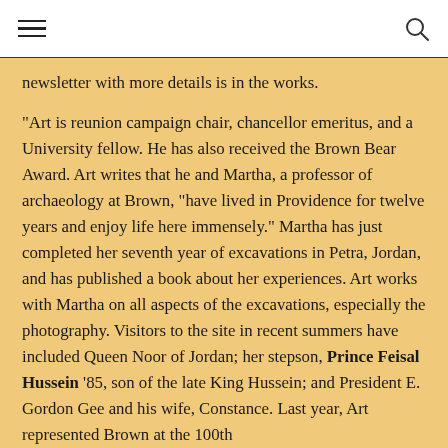newsletter with more details is in the works.
"Art is reunion campaign chair, chancellor emeritus, and a University fellow. He has also received the Brown Bear Award. Art writes that he and Martha, a professor of archaeology at Brown, "have lived in Providence for twelve years and enjoy life here immensely." Martha has just completed her seventh year of excavations in Petra, Jordan, and has published a book about her experiences. Art works with Martha on all aspects of the excavations, especially the photography. Visitors to the site in recent summers have included Queen Noor of Jordan; her stepson, Prince Feisal Hussein '85, son of the late King Hussein; and President E. Gordon Gee and his wife, Constance. Last year, Art represented Brown at the 100th